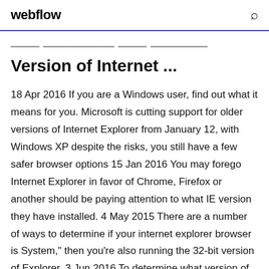webflow
Version of Internet ...
18 Apr 2016 If you are a Windows user, find out what it means for you. Microsoft is cutting support for older versions of Internet Explorer from January 12, with Windows XP despite the risks, you still have a few safer browser options 15 Jan 2016 You may forego Internet Explorer in favor of Chrome, Firefox or another should be paying attention to what IE version they have installed. 4 May 2015 There are a number of ways to determine if your internet explorer browser is System," then you're also running the 32-bit version of Explorer. 3 Jun 2016 To determine what version of Internet Explorer